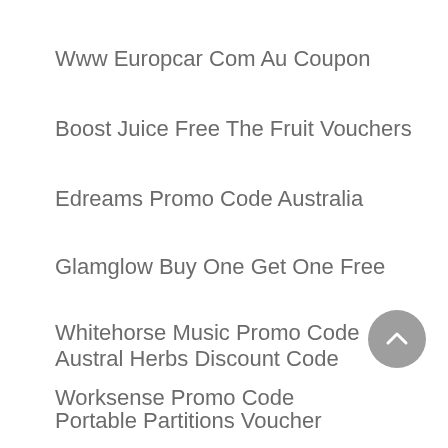Www Europcar Com Au Coupon
Boost Juice Free The Fruit Vouchers
Edreams Promo Code Australia
Glamglow Buy One Get One Free
Whitehorse Music Promo Code
Worksense Promo Code
Austral Herbs Discount Code
Portable Partitions Voucher